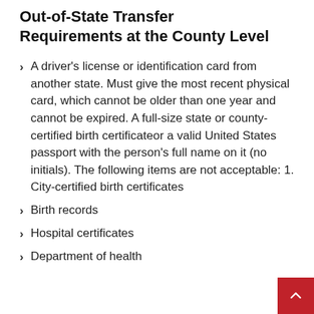Out-of-State Transfer Requirements at the County Level
A driver's license or identification card from another state. Must give the most recent physical card, which cannot be older than one year and cannot be expired. A full-size state or county-certified birth certificateor a valid United States passport with the person's full name on it (no initials). The following items are not acceptable: 1. City-certified birth certificates
Birth records
Hospital certificates
Department of health